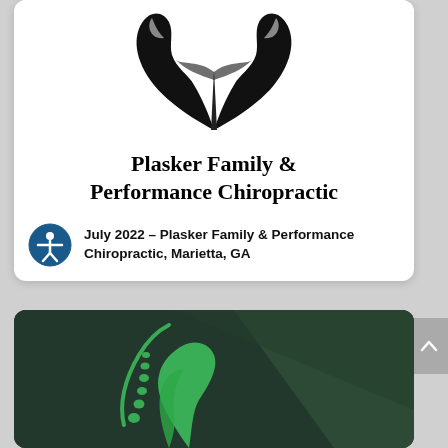[Figure (logo): Black silhouette of two hands curving upward forming a heart/bird shape — Plasker Family & Performance Chiropractic logo]
Plasker Family & Performance Chiropractic
July 2022 – Plasker Family & Performance Chiropractic, Marietta, GA
[Figure (logo): Green chiropractic spine and hand logo on dark green background — partial view of second clinic card]